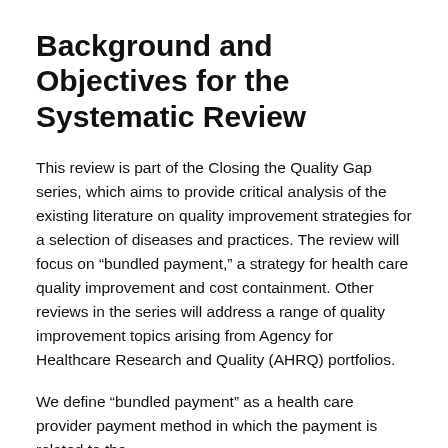Background and Objectives for the Systematic Review
This review is part of the Closing the Quality Gap series, which aims to provide critical analysis of the existing literature on quality improvement strategies for a selection of diseases and practices. The review will focus on “bundled payment,” a strategy for health care quality improvement and cost containment. Other reviews in the series will address a range of quality improvement topics arising from Agency for Healthcare Research and Quality (AHRQ) portfolios.
We define “bundled payment” as a health care provider payment method in which the payment is related to the...